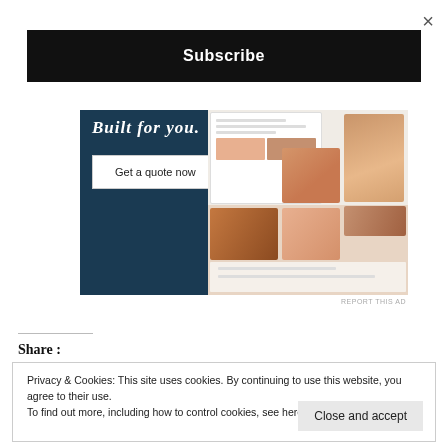×
Subscribe
[Figure (screenshot): Advertisement screenshot showing a dark navy blue background with italic text 'Built for you.' and a white 'Get a quote now' button on the left, and a mockup of a website with fashion/clothing photos on the right side.]
REPORT THIS AD
Share :
Privacy & Cookies: This site uses cookies. By continuing to use this website, you agree to their use.
To find out more, including how to control cookies, see here: Cookie Policy
Close and accept